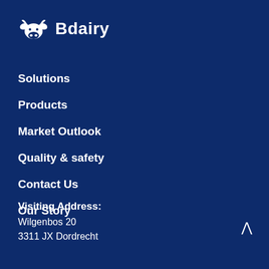[Figure (logo): Bdairy logo with cow head icon and text 'Bdairy' in white on dark blue background]
Solutions
Products
Market Outlook
Quality & safety
Contact Us
Our Story
Visiting Address:
Wilgenbos 20
3311 JX Dordrecht